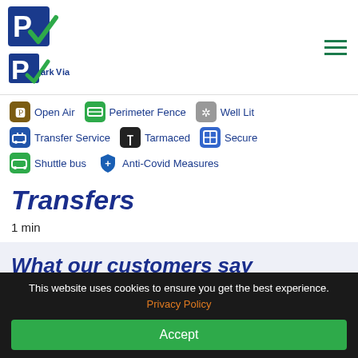[Figure (logo): ParkVia logo with blue P in a square and green checkmark]
Open Air  Perimeter Fence  Well Lit
Transfer Service  Tarmaced  Secure
Shuttle bus  Anti-Covid Measures
Transfers
1 min
What our customers say
about parking at STANSTED
This website uses cookies to ensure you get the best experience. Privacy Policy
Accept